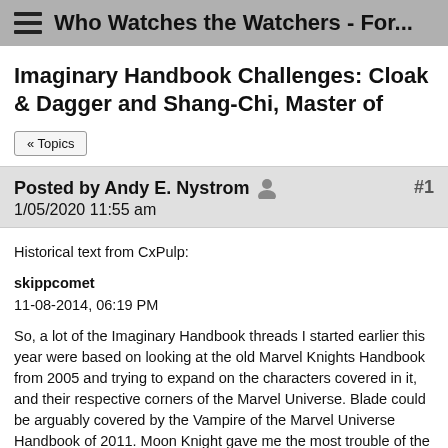Who Watches the Watchers - For...
Imaginary Handbook Challenges: Cloak & Dagger and Shang-Chi, Master of
« Topics
Posted by Andy E. Nystrom  #1
1/05/2020 11:55 am
Historical text from CxPulp:

skippcomet
11-08-2014, 06:19 PM

So, a lot of the Imaginary Handbook threads I started earlier this year were based on looking at the old Marvel Knights Handbook from 2005 and trying to expand on the characters covered in it, and their respective corners of the Marvel Universe. Blade could be arguably covered by the Vampire of the Marvel Universe Handbook of 2011. Moon Knight gave me the most trouble of the ones I attempted. But looking at Cloak and Shang-Chi gave me real pause. How big is the Cloak and Dagger corner of the MU, anyway? Even if you included characters who've already been covered, that's, what, four? Cloak, Dagger, Ecstasy, and the Predator. Maybe Mister Negative, since his origins were tied into C&D's. And Shang-Chi...not only